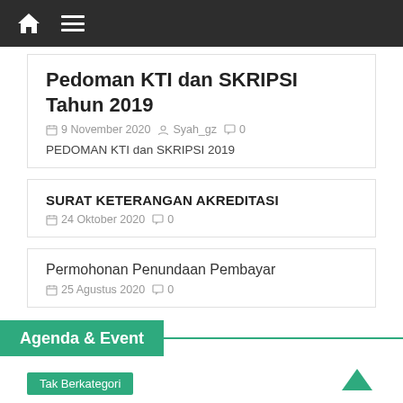Navigation bar with home and menu icons
Pedoman KTI dan SKRIPSI Tahun 2019
9 November 2020  Syah_gz  0
PEDOMAN KTI dan SKRIPSI 2019
SURAT KETERANGAN AKREDITASI
24 Oktober 2020  0
Permohonan Penundaan Pembayar
25 Agustus 2020  0
Agenda & Event
Tak Berkategori